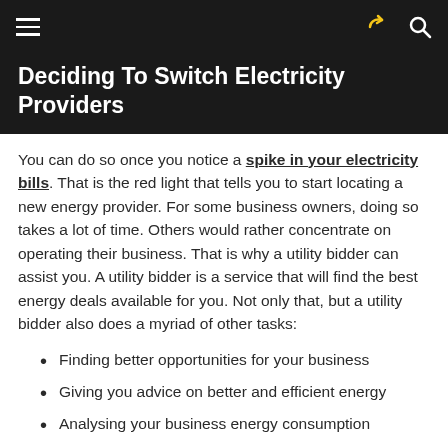Deciding To Switch Electricity Providers
You can do so once you notice a spike in your electricity bills. That is the red light that tells you to start locating a new energy provider. For some business owners, doing so takes a lot of time. Others would rather concentrate on operating their business. That is why a utility bidder can assist you. A utility bidder is a service that will find the best energy deals available for you. Not only that, but a utility bidder also does a myriad of other tasks:
Finding better opportunities for your business
Giving you advice on better and efficient energy
Analysing your business energy consumption